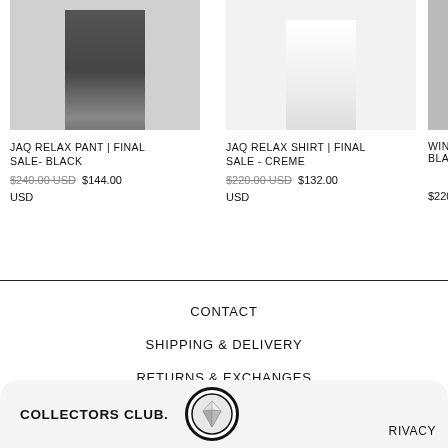[Figure (photo): Product photo of JAQ RELAX PANT, dark trousers with heels, cropped]
JAQ RELAX PANT | FINAL SALE- BLACK
$240.00 USD  $144.00 USD
[Figure (photo): Product photo of JAQ RELAX SHIRT, light/creme colored shirt, cropped]
JAQ RELAX SHIRT | FINAL SALE - CREME
$220.00 USD  $132.00 USD
[Figure (photo): Partial product photo, partially cropped at right edge]
WINDO... BLACK
$220....
CONTACT
SHIPPING & DELIVERY
RETURNS & EXCHANGES
STOCKIST
COLLECTORS CLUB.